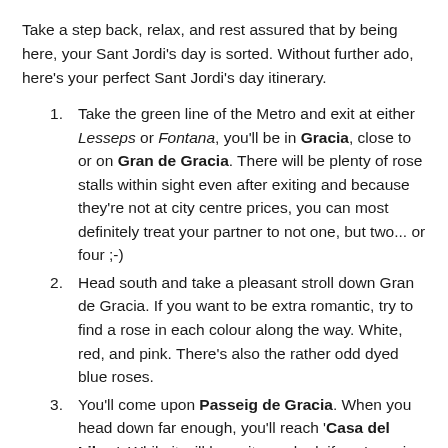Take a step back, relax, and rest assured that by being here, your Sant Jordi's day is sorted. Without further ado, here's your perfect Sant Jordi's day itinerary.
Take the green line of the Metro and exit at either Lesseps or Fontana, you'll be in Gracia, close to or on Gran de Gracia. There will be plenty of rose stalls within sight even after exiting and because they're not at city centre prices, you can most definitely treat your partner to not one, but two... or four ;-)
Head south and take a pleasant stroll down Gran de Gracia. If you want to be extra romantic, try to find a rose in each colour along the way. White, red, and pink. There's also the rather odd dyed blue roses.
You'll come upon Passeig de Gracia. When you head down far enough, you'll reach 'Casa del Libro'. While it will be quite packed, if you're going to buy a book it's ideal because there is a section of English ones inside.
For lunch, you can either head to the end of Passeig